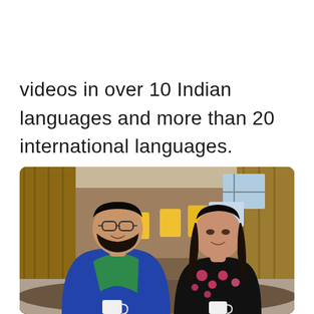videos in over 10 Indian languages and more than 20 international languages.
[Figure (photo): Two people smiling in an office/co-working space. On the left, a man with glasses and a beard wearing a blue shirt over a green t-shirt. On the right, a woman with long dark hair wearing a black floral top. Both appear to be holding mugs. The background shows a modern office with wooden walls, yellow chairs, and workstations.]